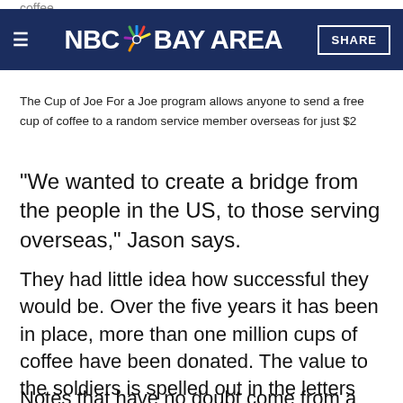NBC BAY AREA | SHARE
The Cup of Joe For a Joe program allows anyone to send a free cup of coffee to a random service member overseas for just $2
"We wanted to create a bridge from the people in the US, to those serving overseas," Jason says.
They had little idea how successful they would be. Over the five years it has been in place, more than one million cups of coffee have been donated. The value to the soldiers is spelled out in the letters and notes they send back to their benefactors.
Notes that have no doubt come from a...